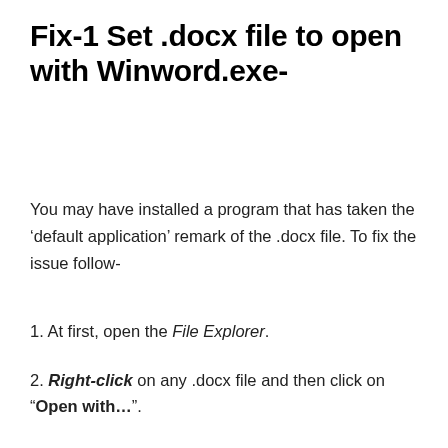Fix-1 Set .docx file to open with Winword.exe-
You may have installed a program that has taken the ‘default application’ remark of the .docx file. To fix the issue follow-
1. At first, open the File Explorer.
2. Right-click on any .docx file and then click on “Open with…”.